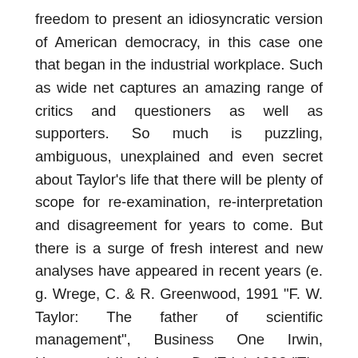freedom to present an idiosyncratic version of American democracy, in this case one that began in the industrial workplace. Such as wide net captures an amazing range of critics and questioners as well as supporters. So much is puzzling, ambiguous, unexplained and even secret about Taylor's life that there will be plenty of scope for re-examination, re-interpretation and disagreement for years to come. But there is a surge of fresh interest and new analyses have appeared in recent years (e. g. Wrege, C. & R. Greenwood, 1991 "F. W. Taylor: The father of scientific management", Business One Irwin, Homewood IL; Nelson, D. (Ed. ) 1992 "The mental revolution: Scientific management since Taylor", Ohio State University Press, Columbus OH). We know other books are under way. As is customary, we offer this additional volume respectfully to